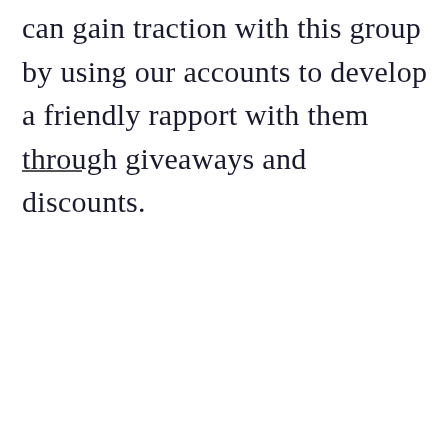can gain traction with this group by using our accounts to develop a friendly rapport with them through giveaways and discounts.